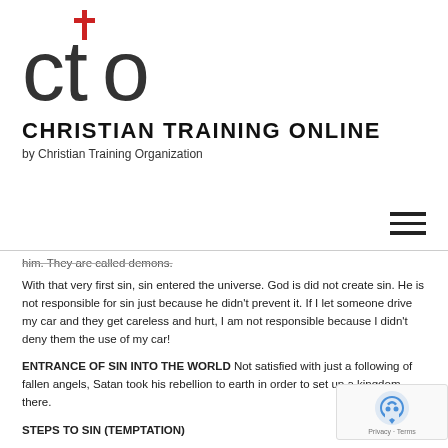[Figure (logo): CTO logo with red cross above the letter 't' in 'cto' text]
CHRISTIAN TRAINING ONLINE
by Christian Training Organization
him. They are called demons.
With that very first sin, sin entered the universe. God is did not create sin. He is not responsible for sin just because he didn't prevent it. If I let someone drive my car and they get careless and hurt, I am not responsible because I didn't deny them the use of my car!
ENTRANCE OF SIN INTO THE WORLD Not satisfied with just a following of fallen angels, Satan took his rebellion to earth in order to set up a kingdom there.
STEPS TO SIN (TEMPTATION)